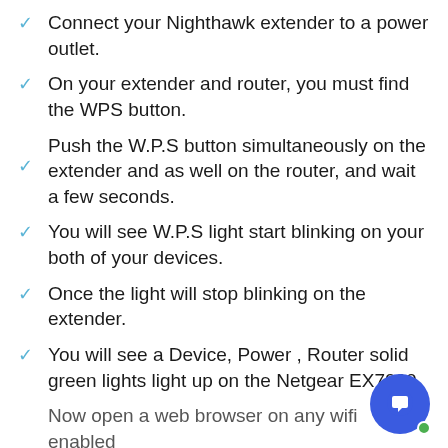Connect your Nighthawk extender to a power outlet.
On your extender and router, you must find the WPS button.
Push the W.P.S button simultaneously on the extender and as well on the router, and wait a few seconds.
You will see W.P.S light start blinking on your both of your devices.
Once the light will stop blinking on the extender.
You will see a Device, Power , Router solid green lights light up on the Netgear EX7000
Now open a web browser on any wifi enabled